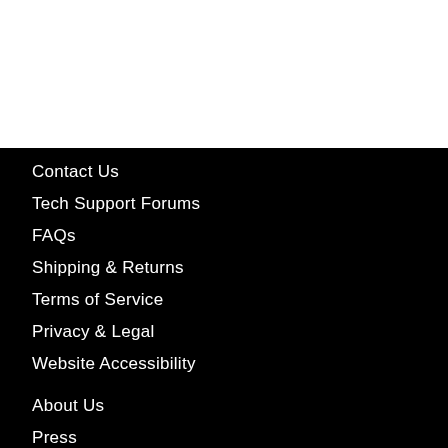Contact Us
Tech Support Forums
FAQs
Shipping & Returns
Terms of Service
Privacy & Legal
Website Accessibility
About Us
Press